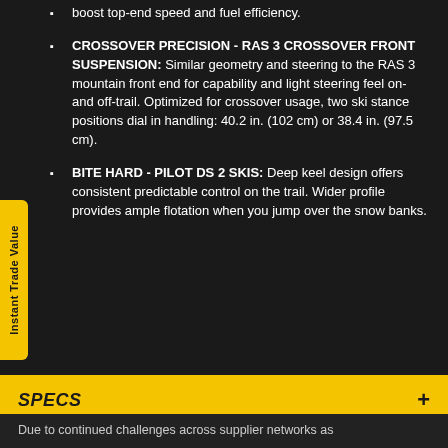boost top-end speed and fuel efficiency.
CROSSOVER PRECISION - RAS 3 CROSSOVER FRONT SUSPENSION: Similar geometry and steering to the RAS 3 mountain front end for capability and light steering feel on- and off-trail. Optimized for crossover usage, two ski stance positions dial in handling: 40.2 in. (102 cm) or 38.4 in. (97.5 cm).
BITE HARD - PILOT DS 2 SKIS: Deep keel design offers consistent predictable control on the trail. Wider profile provides ample flotation when you jump over the snow banks.
SPECS
PHOTOS
PROMOTIONS
Due to continued challenges across supplier networks as